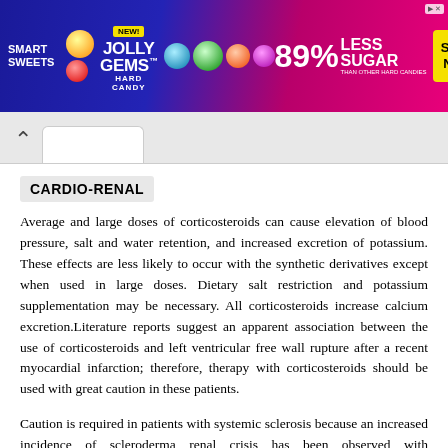[Figure (photo): Smart Sweets Jolly Gems Hard Candy advertisement banner. Blue and pink gradient background with candy imagery. Text: NEW! JOLLY GEMS HARD CANDY. 89% LESS SUGAR THAN OTHER HARD CANDIES. SHOP NOW button.]
CARDIO-RENAL
Average and large doses of corticosteroids can cause elevation of blood pressure, salt and water retention, and increased excretion of potassium. These effects are less likely to occur with the synthetic derivatives except when used in large doses. Dietary salt restriction and potassium supplementation may be necessary. All corticosteroids increase calcium excretion.Literature reports suggest an apparent association between the use of corticosteroids and left ventricular free wall rupture after a recent myocardial infarction; therefore, therapy with corticosteroids should be used with great caution in these patients.
Caution is required in patients with systemic sclerosis because an increased incidence of scleroderma renal crisis has been observed with corticosteroids, including methylprednisolone. Accumulation or retention with resultant